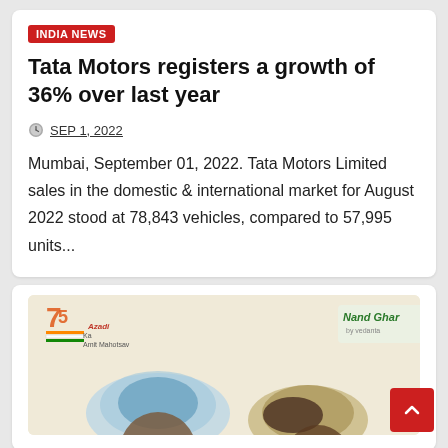INDIA NEWS
Tata Motors registers a growth of 36% over last year
SEP 1, 2022
Mumbai, September 01, 2022. Tata Motors Limited sales in the domestic & international market for August 2022 stood at 78,843 vehicles, compared to 57,995 units...
[Figure (photo): Promotional image featuring Azadi Ka Amrit Mahotsav (75th Independence) branding and Nand Ghar by Vedanta logo, with food items visible in the lower portion]